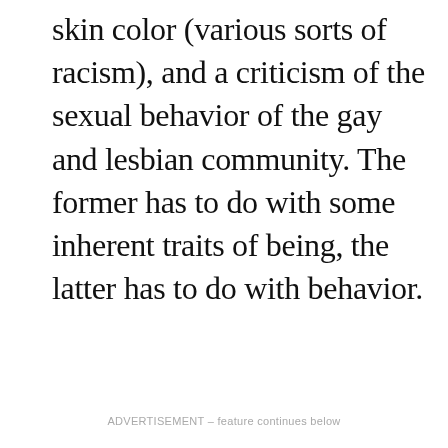skin color (various sorts of racism), and a criticism of the sexual behavior of the gay and lesbian community. The former has to do with some inherent traits of being, the latter has to do with behavior.
ADVERTISEMENT – feature continues below